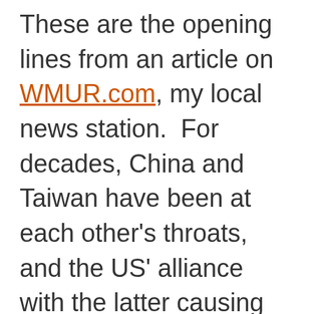These are the opening lines from an article on WMUR.com, my local news station.  For decades, China and Taiwan have been at each other's throats, and the US' alliance with the latter causing diplomatic issues with the former.  But as their trade relationship has grown, so has diplomatic ties.  In fact, the two nations' leaders will meet this weekend, the first meeting since 1949.  This is a huge